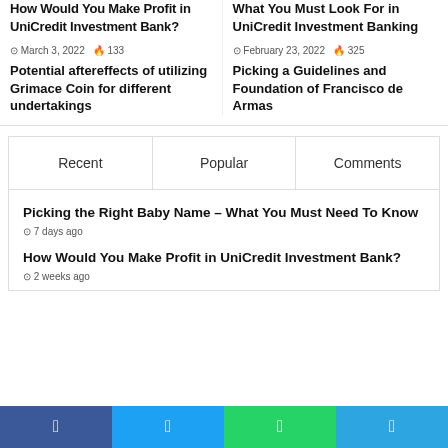How Would You Make Profit in UniCredit Investment Bank?
March 3, 2022  133
Potential aftereffects of utilizing Grimace Coin for different undertakings
What You Must Look For in UniCredit Investment Banking
February 23, 2022  325
Picking a Guidelines and Foundation of Francisco de Armas
Recent
Popular
Comments
Picking the Right Baby Name – What You Must Need To Know
7 days ago
How Would You Make Profit in UniCredit Investment Bank?
2 weeks ago